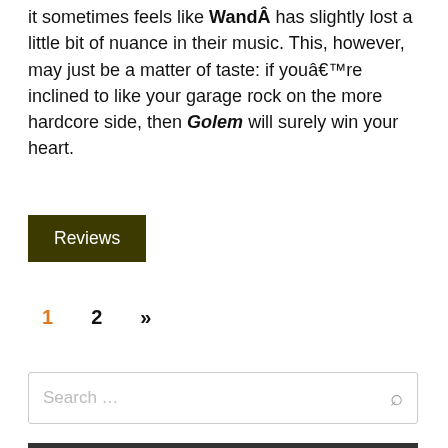it sometimes feels like Wandâ has slightly lost a little bit of nuance in their music. This, however, may just be a matter of taste: if youâ€™re inclined to like your garage rock on the more hardcore side, then Golem will surely win your heart.
Reviews
1  2  »
Search …
TOP SONGS OF LAST WEEK
[Figure (photo): Bottom partial image strip with colorful abstract/music-themed graphic]